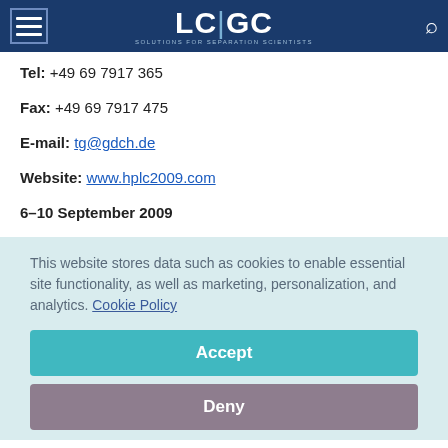LC|GC Solutions for Separation Scientists
Tel: +49 69 7917 365
Fax: +49 69 7917 475
E-mail: tg@gdch.de
Website: www.hplc2009.com
6–10 September 2009
This website stores data such as cookies to enable essential site functionality, as well as marketing, personalization, and analytics. Cookie Policy
Accept
Deny